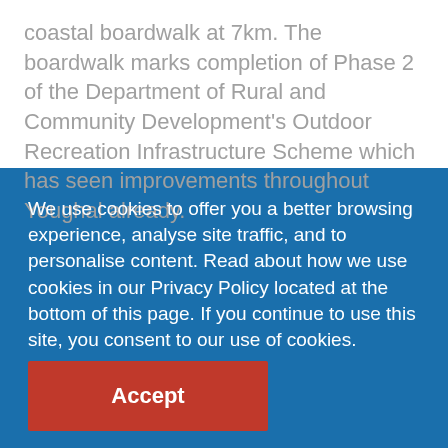coastal boardwalk at 7km. The boardwalk marks completion of Phase 2 of the Department of Rural and Community Development's Outdoor Recreation Infrastructure Scheme which has seen improvements throughout Youghal already.
We use cookies to offer you a better browsing experience, analyse site traffic, and to personalise content. Read about how we use cookies in our Privacy Policy located at the bottom of this page. If you continue to use this site, you consent to our use of cookies.
Accept